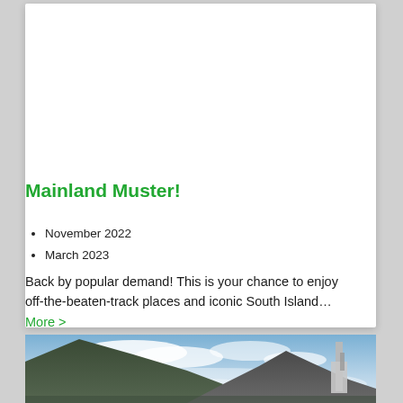Mainland Muster!
November 2022
March 2023
Back by popular demand! This is your chance to enjoy off-the-beaten-track places and iconic South Island... More >
[Figure (photo): Scenic photo of mountains and cloudy sky with a boat structure visible on the right side, South Island New Zealand fjord landscape]